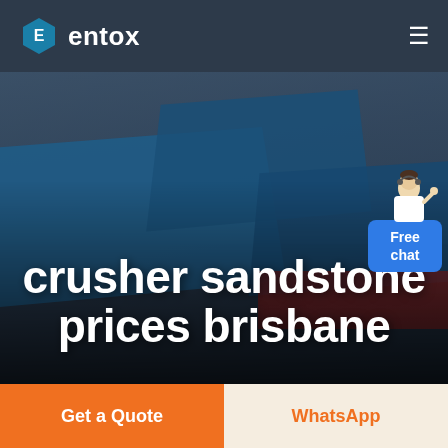entox
[Figure (photo): Aerial view of industrial factory complex with blue rooftops, photographed from above, with dark overlay. Text 'crusher sandstone prices brisbane' overlaid in large white bold font.]
crusher sandstone prices brisbane
Free chat
Get a Quote
WhatsApp